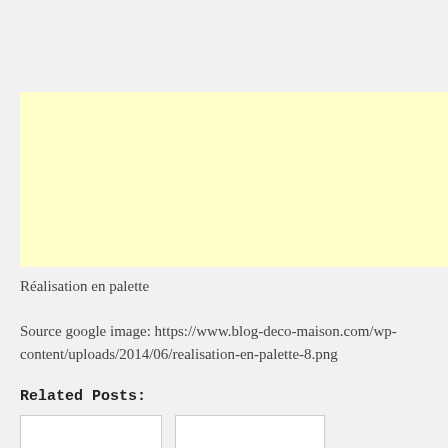[Figure (other): Yellow rectangle placeholder/advertisement block]
Réalisation en palette
Source google image: https://www.blog-deco-maison.com/wp-content/uploads/2014/06/realisation-en-palette-8.png
Related Posts:
[Figure (photo): Thumbnail placeholder box 1]
[Figure (photo): Thumbnail placeholder box 2]